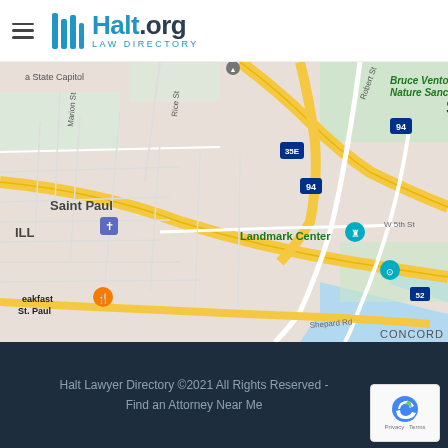Halt.org Law Directory
[Figure (map): Google Maps screenshot showing downtown St Paul, Minnesota with labeled landmarks including St Paul Farmers Market, Landmark Center, Science Museum of Minnesota, Bruce Vento Nature Sanctuary, and major roads including I-94, I-35E, Robert St, Jackson St, and Shepard Rd. The map shows the downtown core area and surrounding neighborhoods.]
Halt Lawyer Directory ©2021 All Rights Reserved - Find an Attorney Near Me